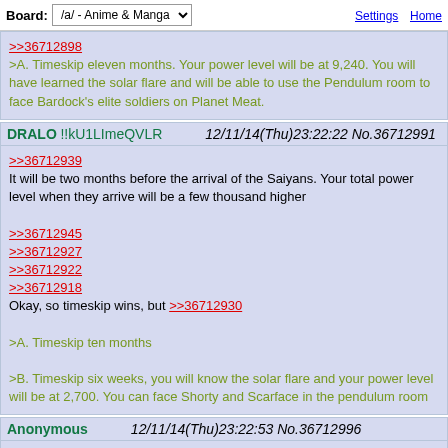Board: /a/ - Anime & Manga | Settings Home
>>36712898
>A. Timeskip eleven months. Your power level will be at 9,240. You will have learned the solar flare and will be able to use the Pendulum room to face Bardock's elite soldiers on Planet Meat.
DRALO !!kU1LImeQVLR   12/11/14(Thu)23:22:22 No.36712991
>>36712939
It will be two months before the arrival of the Saiyans. Your total power level when they arrive will be a few thousand higher

>>36712945
>>36712927
>>36712922
>>36712918
Okay, so timeskip wins, but >>36712930

>A. Timeskip ten months

>B. Timeskip six weeks, you will know the solar flare and your power level will be at 2,700. You can face Shorty and Scarface in the pendulum room
Anonymous   12/11/14(Thu)23:22:53 No.36712996
>>36712939
In canon, we'd make Nappa our bitch. We'd be about half a Vegeta.